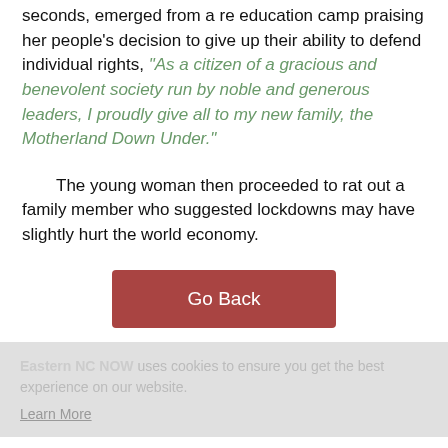seconds, emerged from a re education camp praising her people's decision to give up their ability to defend individual rights, "As a citizen of a gracious and benevolent society run by noble and generous leaders, I proudly give all to my new family, the Motherland Down Under."
The young woman then proceeded to rat out a family member who suggested lockdowns may have slightly hurt the world economy.
[Figure (other): A dark red/maroon button labeled 'Go Back']
Eastern NC NOW uses cookies to ensure you get the best experience on our website. Learn More
Login to Leave a Comment
Got it!